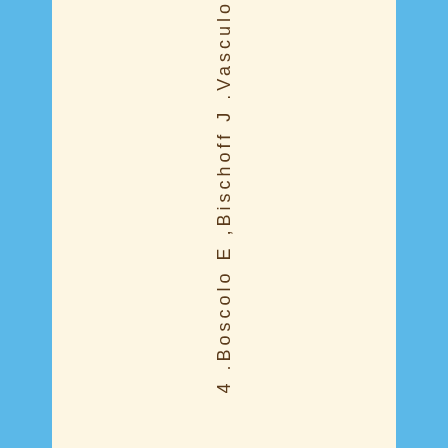4 .Boscolo E ,Bischoff J .Vasculo